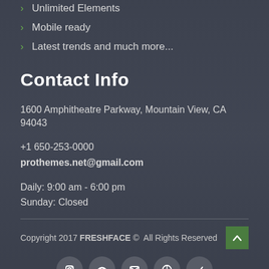Unlimited Elements
Mobile ready
Latest trends and much more...
Contact Info
1600 Amphitheatre Parkway, Mountain View, CA 94043
+1 650-253-0000
prothemes.net@gmail.com
Daily: 9:00 am - 6:00 pm
Sunday: Closed
Copyright 2017 FRESHFACE © All Rights Reserved